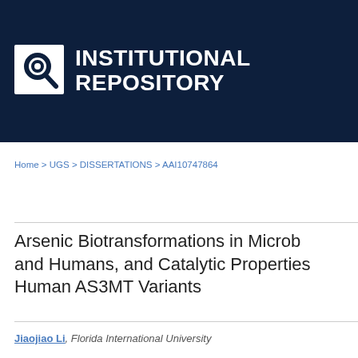[Figure (logo): Institutional Repository logo: dark navy banner with a circular target/search icon on the left and bold white text reading INSTITUTIONAL REPOSITORY on the right]
Home > UGS > DISSERTATIONS > AAI10747864
Arsenic Biotransformations in Microb and Humans, and Catalytic Properties Human AS3MT Variants
Jiaojiao Li, Florida International University